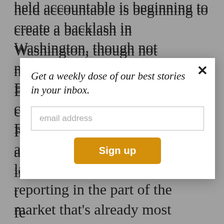held accountable is beginning to create a backlash in Washington, though not necessarily a helpful one. Earlier this year, the GOP-controlled House of Representatives voted to require all colleges and universities that in... the... fe... u... al... p... C... lawmakers are mandating new reporting in the part of the market that's already most transparent: tuition and fees. Instead of trying to regulate the price of college, Congress should
[Figure (other): Email newsletter signup modal overlay with italic headline 'Get a weekly dose of our best stories in your inbox.', an email address input field, and a gold 'Sign up' button. A close (×) button is in the top right corner.]